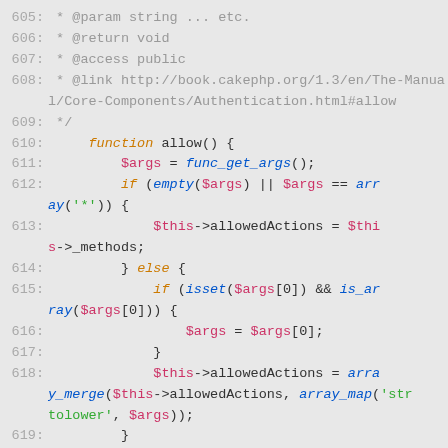[Figure (screenshot): PHP source code snippet showing lines 605-625 of a CakePHP authentication component. Lines include PHPDoc comments and a function 'allow()' with logic for setting allowedActions.]